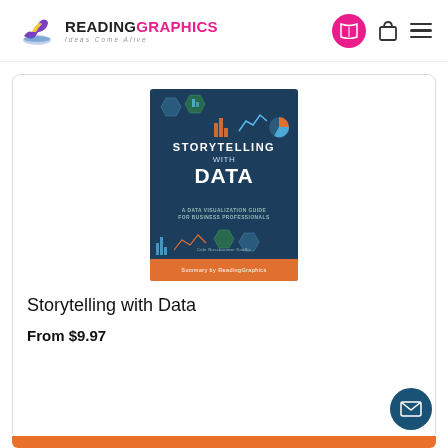ReadingGraphics — Ideas Come Alive
[Figure (photo): Book cover of 'Storytelling with Data: A Data Visualization Guide for Business Professionals' by Cole Nussbaumer Knaflic, with Summary by ReadingGraphics banner]
Storytelling with Data
From $9.97